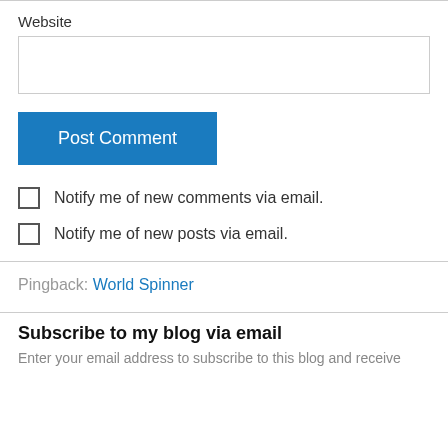Website
Post Comment
Notify me of new comments via email.
Notify me of new posts via email.
Pingback: World Spinner
Subscribe to my blog via email
Enter your email address to subscribe to this blog and receive